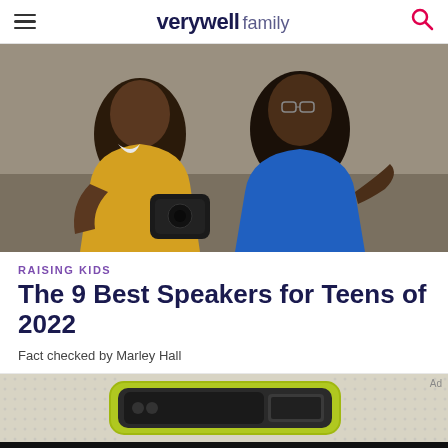verywell family
[Figure (photo): Two teenage boys sitting together looking at a portable Bluetooth speaker. One wears a yellow shirt, the other a blue sleeveless shirt.]
RAISING KIDS
The 9 Best Speakers for Teens of 2022
Fact checked by Marley Hall
[Figure (photo): Partial view of a portable speaker with a yellow-green border on a textured background, with 'Ad' label in corner.]
We help people find answers, solve problems and get inspired. Dotdash meredith